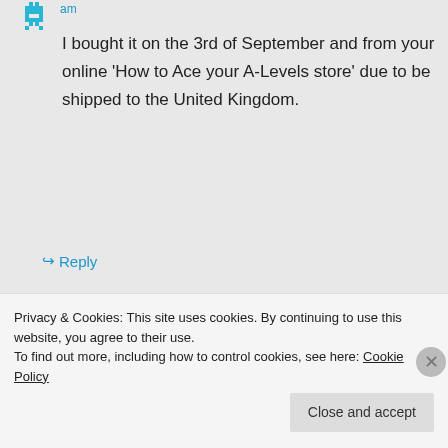am
I bought it on the 3rd of September and from your online ‘How to Ace your A-Levels store’ due to be shipped to the United Kingdom.
↪ Reply
Jack on September 6, 2015 at 5:21 pm
Privacy & Cookies: This site uses cookies. By continuing to use this website, you agree to their use.
To find out more, including how to control cookies, see here: Cookie Policy
Close and accept